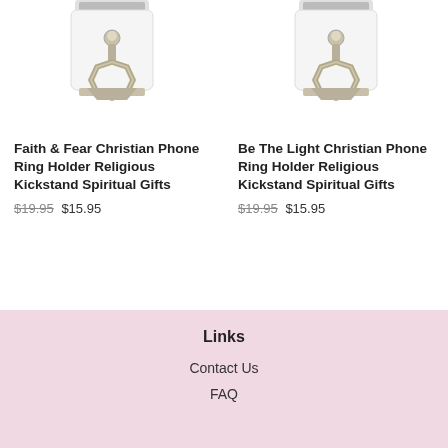[Figure (photo): Phone ring holder product image — white square base with a silver metallic octagonal ring kickstand, left product]
Faith & Fear Christian Phone Ring Holder Religious Kickstand Spiritual Gifts
$19.95 $15.95
[Figure (photo): Phone ring holder product image — white square base with a silver metallic octagonal ring kickstand, right product]
Be The Light Christian Phone Ring Holder Religious Kickstand Spiritual Gifts
$19.95 $15.95
Links
Contact Us
FAQ